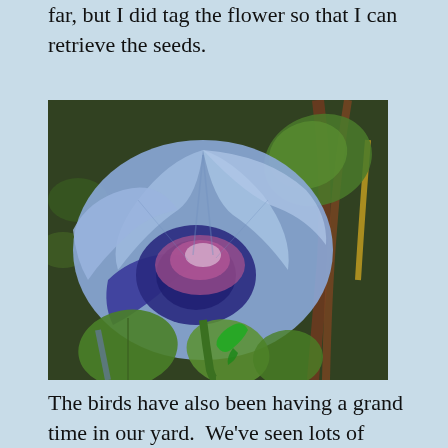far, but I did tag the flower so that I can retrieve the seeds.
[Figure (photo): A large blue and purple morning glory flower in full bloom, with green heart-shaped leaves and vines in the background. A small green tag/ribbon is visible at the bottom of the stem.]
The birds have also been having a grand time in our yard.  We’ve seen lots of cardinals, including the   Daddy   Cardinal